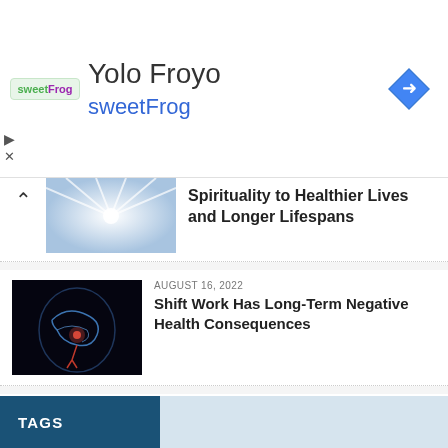[Figure (screenshot): Advertisement banner for Yolo Froyo sweetFrog with logo and navigation icon]
Yolo Froyo
sweetFrog
[Figure (photo): Light rays or spiritual light image thumbnail]
Spirituality to Healthier Lives and Longer Lifespans
AUGUST 16, 2022
[Figure (photo): Brain with glowing neural network illustration]
Shift Work Has Long-Term Negative Health Consequences
AUGUST 15, 2022
[Figure (photo): Human ear with sound waves illustration]
Significant Breakthrough in Search for Tinnitus Cure
TAGS